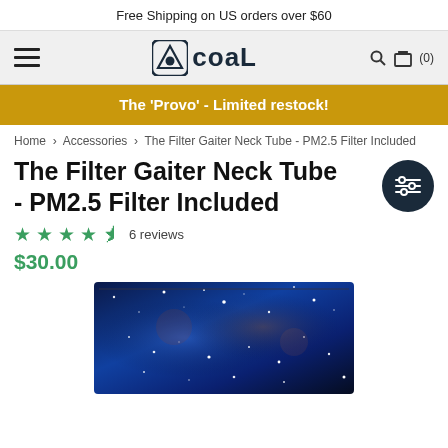Free Shipping on US orders over $60
[Figure (logo): Coal brand logo with hamburger menu on left and search/cart icons on right]
The 'Provo' - Limited restock!
Home > Accessories > The Filter Gaiter Neck Tube - PM2.5 Filter Included
The Filter Gaiter Neck Tube - PM2.5 Filter Included
6 reviews
$30.00
[Figure (photo): A galaxy/space printed neck tube gaiter laid flat, showing a dark blue background with stars and nebula colors]